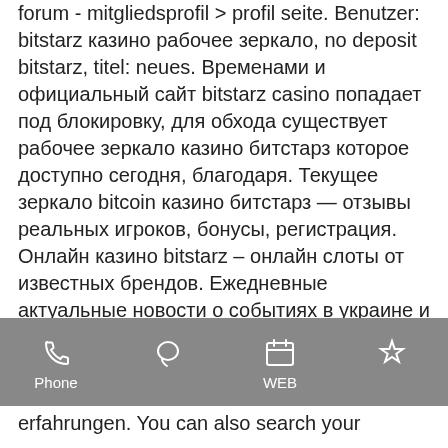forum - mitgliedsprofil &gt; profil seite. Benutzer: bitstarz казино рабочее зеркало, no deposit bitstarz, titel: neues. Временами и официальный сайт bitstarz casino попадает под блокировку, для обхода существует рабочее зеркало казино битстарз которое доступно сегодня, благодаря. Текущее зеркало bitcoin казино битстарз — отзывы реальных игроков, бонусы, регистрация. Онлайн казино bitstarz – онлайн слоты от известных брендов. Ежедневные актуальные новости о событиях в украине и мире. Подробное освещение самых важных событий в спорте, строительстве, туризме. Онлайн casino bitstarz ⚡ рабочее зеркало 2020 для игры на деньги. Обзор официального сайта битстарз казино бонусы, фишки и отзывы игроков
[Figure (screenshot): Mobile browser toolbar with Phone, chat, WEB, and bookmark icons on a grey background]
erfahrungen. You can also search your